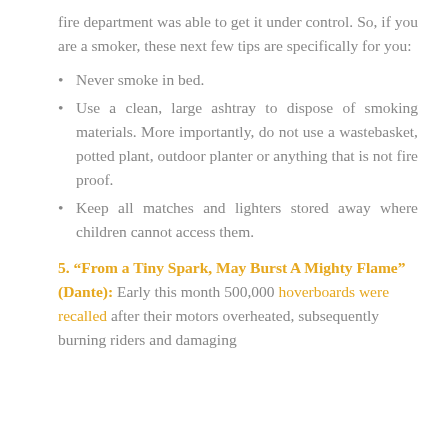fire department was able to get it under control. So, if you are a smoker, these next few tips are specifically for you:
Never smoke in bed.
Use a clean, large ashtray to dispose of smoking materials. More importantly, do not use a wastebasket, potted plant, outdoor planter or anything that is not fire proof.
Keep all matches and lighters stored away where children cannot access them.
5. “From a Tiny Spark, May Burst A Mighty Flame” (Dante):
Early this month 500,000 hoverboards were recalled after their motors overheated, subsequently burning riders and damaging